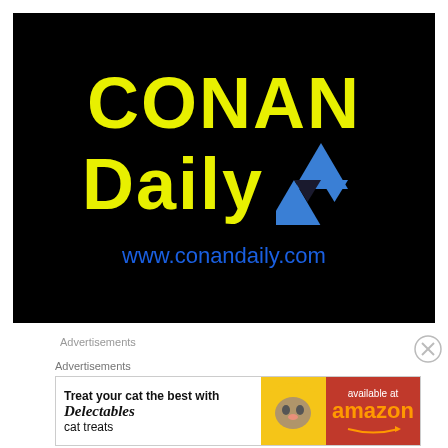[Figure (logo): CONAN Daily logo on black background with yellow bold text 'CONAN' and 'Daily', blue triforce triangles, and URL www.conandaily.com in blue]
Advertisements
Advertisements
[Figure (infographic): Advertisement banner: 'Treat your cat the best with Delectables cat treats' with cat image and 'available at amazon' on red background]